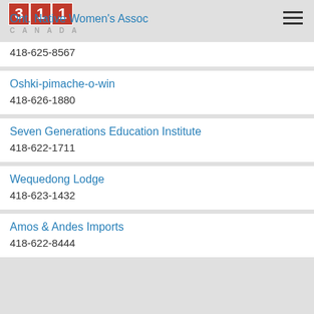311 Ont. Native Women's Assoc CANADA
418-625-8567
Oshki-pimache-o-win
418-626-1880
Seven Generations Education Institute
418-622-1711
Wequedong Lodge
418-623-1432
Amos & Andes Imports
418-622-8444